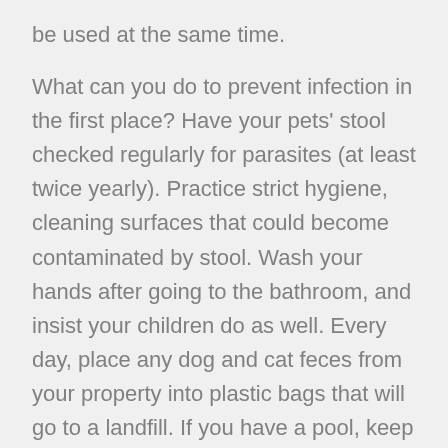be used at the same time.
What can you do to prevent infection in the first place? Have your pets' stool checked regularly for parasites (at least twice yearly). Practice strict hygiene, cleaning surfaces that could become contaminated by stool. Wash your hands after going to the bathroom, and insist your children do as well. Every day, place any dog and cat feces from your property into plastic bags that will go to a landfill. If you have a pool, keep it well maintained, don't allow any person or pet in the pool if they have diarrhea, and have everyone shower (with soap) before entering the pool. Don't allow children to defecate while in the pool. Don't swallow any water when you are in a pool or any other type of